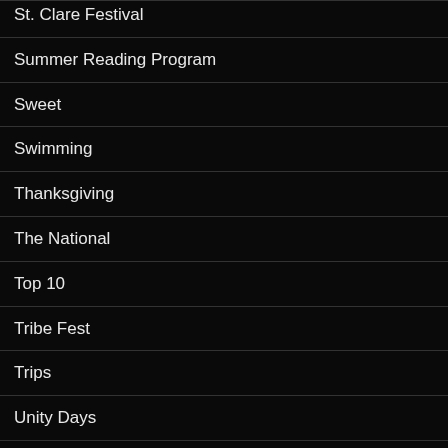St. Clare Festival
Summer Reading Program
Sweet
Swimming
Thanksgiving
The National
Top 10
Tribe Fest
Trips
Unity Days
Video
Violin
Welcome